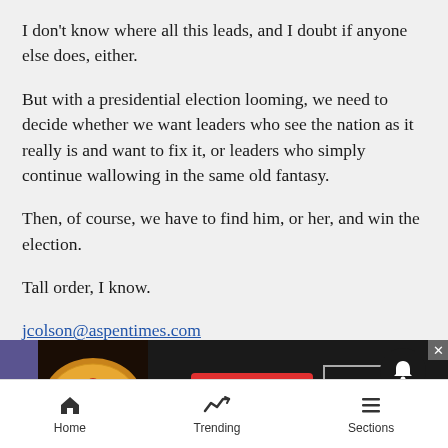I don't know where all this leads, and I doubt if anyone else does, either.
But with a presidential election looming, we need to decide whether we want leaders who see the nation as it really is and want to fix it, or leaders who simply continue wallowing in the same old fantasy.
Then, of course, we have to find him, or her, and win the election.
Tall order, I know.
jcolson@aspentimes.com
[Figure (screenshot): Advertisement banner for Seamless food delivery with pizza image, red Seamless logo button, and ORDER NOW button, plus a notification bell icon and close button]
Home | Trending | Sections